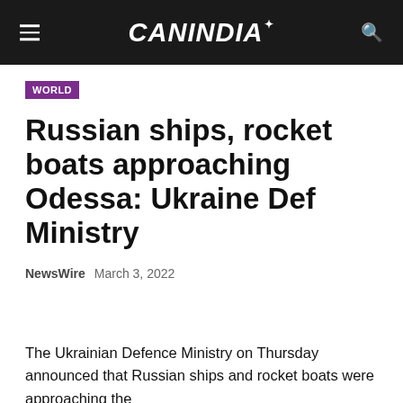CANINDIA
WORLD
Russian ships, rocket boats approaching Odessa: Ukraine Def Ministry
NewsWire  March 3, 2022
The Ukrainian Defence Ministry on Thursday announced that Russian ships and rocket boats were approaching the